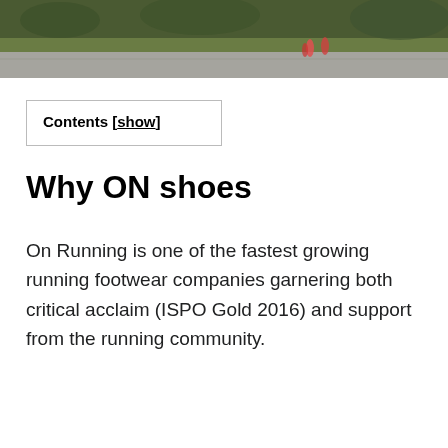[Figure (photo): Outdoor photo showing runners on a path or road, with green grass and trees visible in the background. Only the bottom portion of the photo is visible — a strip showing grass, a gray road, and distant figures.]
Contents [show]
Why ON shoes
On Running is one of the fastest growing running footwear companies garnering both critical acclaim (ISPO Gold 2016) and support from the running community.